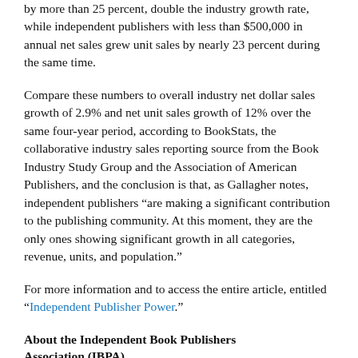by more than 25 percent, double the industry growth rate, while independent publishers with less than $500,000 in annual net sales grew unit sales by nearly 23 percent during the same time.
Compare these numbers to overall industry net dollar sales growth of 2.9% and net unit sales growth of 12% over the same four-year period, according to BookStats, the collaborative industry sales reporting source from the Book Industry Study Group and the Association of American Publishers, and the conclusion is that, as Gallagher notes, independent publishers “are making a significant contribution to the publishing community. At this moment, they are the only ones showing significant growth in all categories, revenue, units, and population.”
For more information and to access the entire article, entitled “Independent Publisher Power.”
About the Independent Book Publishers Association (IBPA)
Founded in 1983, the Independent Book Publishers